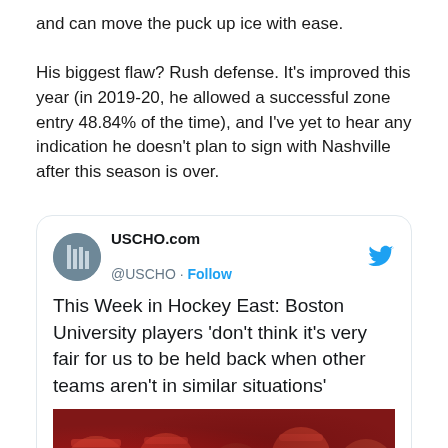and can move the puck up ice with ease.
His biggest flaw? Rush defense. It's improved this year (in 2019-20, he allowed a successful zone entry 48.84% of the time), and I've yet to hear any indication he doesn't plan to sign with Nashville after this season is over.
[Figure (screenshot): Embedded tweet from @USCHO (USCHO.com) with Twitter bird logo. Tweet text: 'This Week in Hockey East: Boston University players 'don't think it's very fair for us to be held back when other teams aren't in similar situations''. Below the tweet text is a photo of hockey players in red uniforms/helmets.]